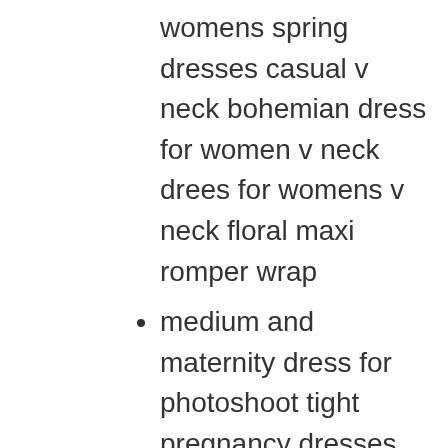womens spring dresses casual v neck bohemian dress for women v neck drees for womens v neck floral maxi romper wrap
medium and maternity dress for photoshoot tight pregnancy dresses maternity dress casual spring dress for pregnant women photoshoot for baby boy maternity comfy dress maternity dresses medium baby shower dress and hippy clothes for women vintage low back dress for women casual dresses for young women flirty summer dress skater